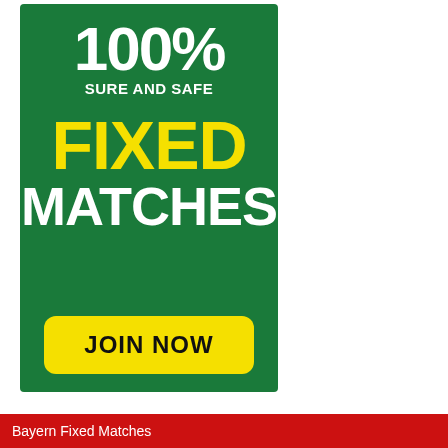[Figure (infographic): Green advertisement banner for fixed sports matches. Shows '100%' in large white bold text at top, 'SURE AND SAFE' below in white, 'FIXED' in large yellow bold text, 'MATCHES' in large white bold text, and a yellow rounded button with 'JOIN NOW' in black bold text.]
Bayern Fixed Matches